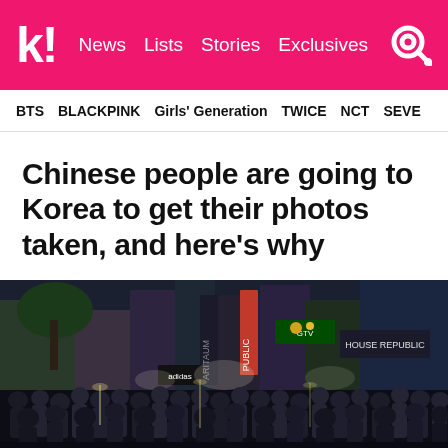k! News  Lists  Stories  Exclusives
BTS  BLACKPINK  Girls' Generation  TWICE  NCT  SEVE
Chinese people are going to Korea to get their photos taken, and here's why
[Figure (photo): Crowded street scene in Korea (likely Myeongdong or Gangnam) at night with illuminated shop signs including ARITAUM, PUBLIC, House Republic, adidas, and others. Large crowds of people fill the street.]